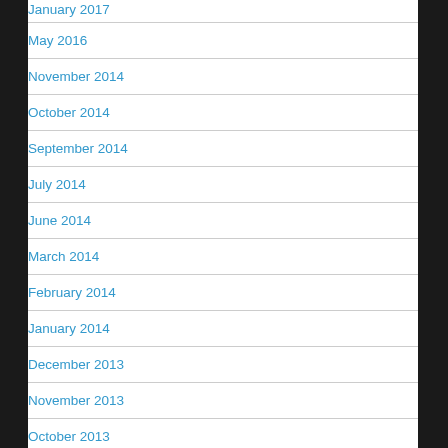January 2017
May 2016
November 2014
October 2014
September 2014
July 2014
June 2014
March 2014
February 2014
January 2014
December 2013
November 2013
October 2013
September 2013
August 2013
July 2013